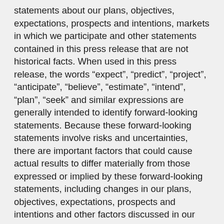statements about our plans, objectives, expectations, prospects and intentions, markets in which we participate and other statements contained in this press release that are not historical facts. When used in this press release, the words “expect”, “predict”, “project”, “anticipate”, “believe”, “estimate”, “intend”, “plan”, “seek” and similar expressions are generally intended to identify forward-looking statements. Because these forward-looking statements involve risks and uncertainties, there are important factors that could cause actual results to differ materially from those expressed or implied by these forward-looking statements, including changes in our plans, objectives, expectations, prospects and intentions and other factors discussed in our filings with the SEC. We cannot guarantee any future levels of activity, performance or achievements. Travelzoo undertakes no obligation to update forward-looking statements to reflect events or circumstances occurring after the date of this press release. Travelzoo and Top 20 are registered trademarks of Travelzoo. All other names are trademarks and/or registered trademarks of their respective...